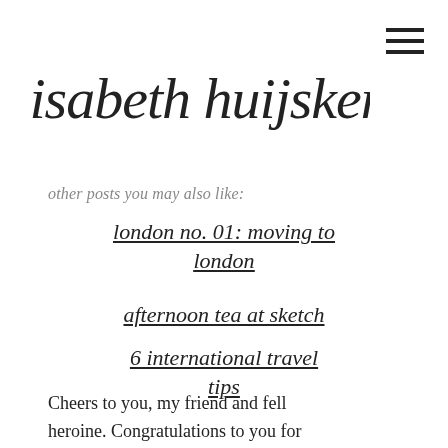[Figure (logo): Handwritten cursive script logo reading 'elisabeth huijskens']
other posts you may also like:
london no. 01: moving to london
afternoon tea at sketch
6 international travel tips
Cheers to you, my friend and fell heroine. Congratulations to you for